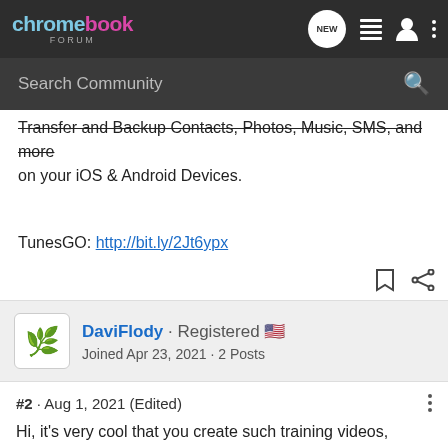chromebook FORUM
Transfer and Backup Contacts, Photos, Music, SMS, and more on your iOS & Android Devices.
TunesGO: http://bit.ly/2Jt6ypx
DaviFlody · Registered 🇺🇸
Joined Apr 23, 2021 · 2 Posts
#2 · Aug 1, 2021 (Edited)
Hi, it's very cool that you create such training videos, because